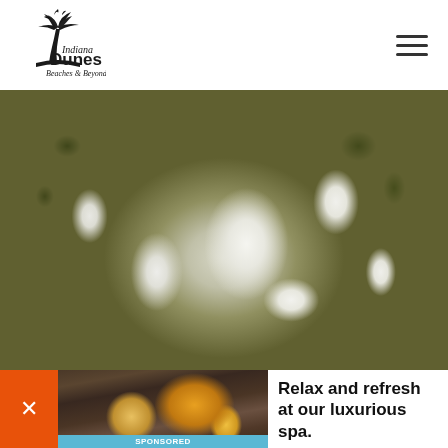[Figure (logo): Indiana Dunes Beaches & Beyond logo with palm tree/dune graphic]
[Figure (photo): Close-up macro photograph of white flowers with green stems and buds against an olive/brown background]
[Figure (photo): Sponsored advertisement banner showing a cozy outdoor spa/restaurant scene with warm candlelight and plants]
Relax and refresh at our luxurious spa.
Read more ›